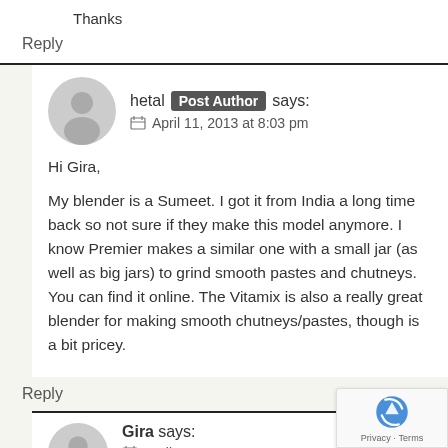Thanks
Reply
hetal Post Author says:
📅 April 11, 2013 at 8:03 pm
Hi Gira,

My blender is a Sumeet. I got it from India a long time back so not sure if they make this model anymore. I know Premier makes a similar one with a small jar (as well as big jars) to grind smooth pastes and chutneys. You can find it online. The Vitamix is also a really great blender for making smooth chutneys/pastes, though is a bit pricey.
Reply
Gira says:
📅 April 17, 2013 at 3:18 pm